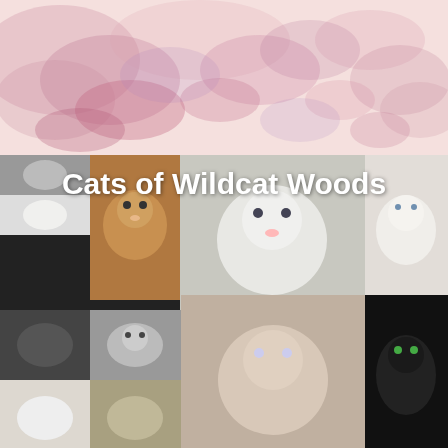[Figure (illustration): Pink and purple watercolor wash background at the top of a blog page]
[Figure (photo): Photo collage of multiple cats with text overlay 'Cats of Wildcat Woods' — includes tabby, white, black, orange and grey cats in a grid layout]
Home
SUNDAY, JANUARY 6, 2013
Hunting with Jack